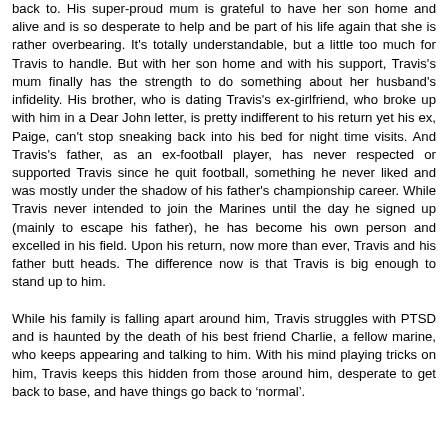back to. His super-proud mum is grateful to have her son home and alive and is so desperate to help and be part of his life again that she is rather overbearing. It's totally understandable, but a little too much for Travis to handle. But with her son home and with his support, Travis's mum finally has the strength to do something about her husband's infidelity. His brother, who is dating Travis's ex-girlfriend, who broke up with him in a Dear John letter, is pretty indifferent to his return yet his ex, Paige, can't stop sneaking back into his bed for night time visits. And Travis's father, as an ex-football player, has never respected or supported Travis since he quit football, something he never liked and was mostly under the shadow of his father's championship career. While Travis never intended to join the Marines until the day he signed up (mainly to escape his father), he has become his own person and excelled in his field. Upon his return, now more than ever, Travis and his father butt heads. The difference now is that Travis is big enough to stand up to him.
While his family is falling apart around him, Travis struggles with PTSD and is haunted by the death of his best friend Charlie, a fellow marine, who keeps appearing and talking to him. With his mind playing tricks on him, Travis keeps this hidden from those around him, desperate to get back to base, and have things go back to ‘normal’.